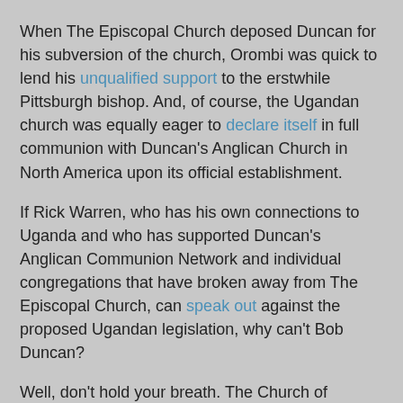When The Episcopal Church deposed Duncan for his subversion of the church, Orombi was quick to lend his unqualified support to the erstwhile Pittsburgh bishop. And, of course, the Ugandan church was equally eager to declare itself in full communion with Duncan's Anglican Church in North America upon its official establishment.
If Rick Warren, who has his own connections to Uganda and who has supported Duncan's Anglican Communion Network and individual congregations that have broken away from The Episcopal Church, can speak out against the proposed Ugandan legislation, why can't Bob Duncan?
Well, don't hold your breath. The Church of Uganda is too important an ally and Duncan is too indebted to Orombi to expect any kind of critical statement from the new American archbishop. Instead, we have this item from the December 11, 2009, communiqué of the first annual Provincial Council of ACNA explaining what the Council did:
And, mindful of the controversy surrounding a bill concerning homosexual behavior that is being considered